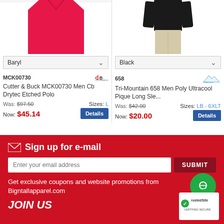[Figure (photo): Red polo shirt product image (left column)]
[Figure (photo): Man wearing black long sleeve polo shirt with khaki pants (right column)]
Baryl (color dropdown)
Black (color dropdown)
MCK00730
Cutter & Buck MCK00730 Men Cb Drytec Etched Polo
Was: $97.50  Sizes: L
Now: $45.14  Details
658
Tri-Mountain 658 Men Poly Ultracool Pique Long Sle...
Was: $42.00  Sizes: LB - 6XLT
Now: $20.00  Details
Sign up for e-mail
Get exclusive coupons and website promotions from Bigntallapparel.com
JOIN US